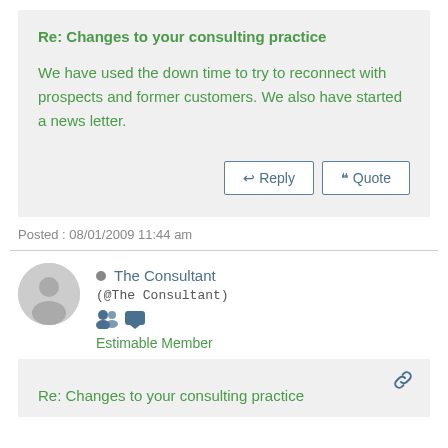Re: Changes to your consulting practice
We have used the down time to try to reconnect with prospects and former customers. We also have started a news letter.
Posted : 08/01/2009 11:44 am
The Consultant
(@The Consultant)
Estimable Member